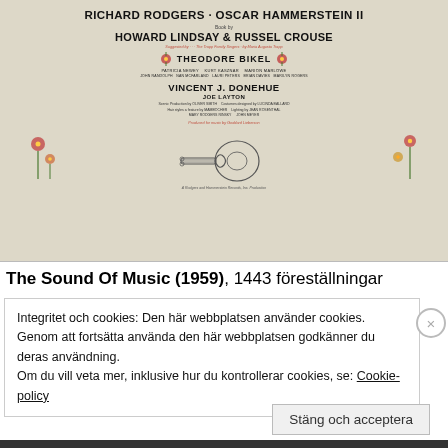[Figure (illustration): A theatrical poster for The Sound of Music showing names Richard Rodgers, Oscar Hammerstein II, Howard Lindsay and Russel Crouse, Theodore Bikel, Vincent J. Donehue, Joe Layton, with a guitar illustration surrounded by floral decorations]
The Sound Of Music (1959), 1443 föreställningar
Integritet och cookies: Den här webbplatsen använder cookies. Genom att fortsätta använda den här webbplatsen godkänner du deras användning.
Om du vill veta mer, inklusive hur du kontrollerar cookies, se: Cookie-policy
Stäng och acceptera